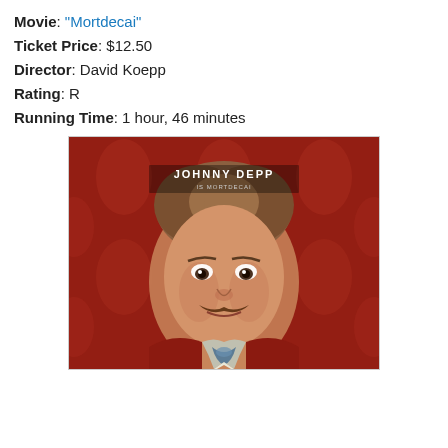Movie: "Mortdecai"
Ticket Price: $12.50
Director: David Koepp
Rating: R
Running Time: 1 hour, 46 minutes
[Figure (photo): Movie poster for Mortdecai featuring Johnny Depp as Mortdecai against a red ornate damask wallpaper background, with text 'JOHNNY DEPP IS MORTDECAI' at the top. The character has a distinctive mustache and wears a red velvet jacket with an open white shirt and colorful cravat.]